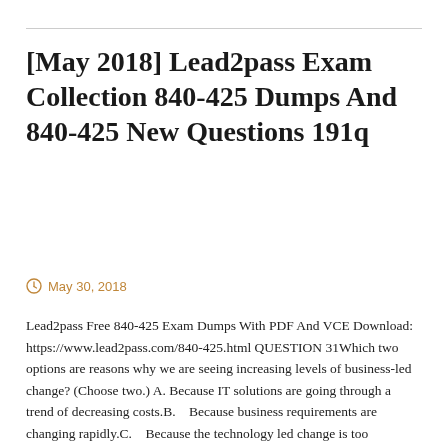[May 2018] Lead2pass Exam Collection 840-425 Dumps And 840-425 New Questions 191q
May 30, 2018
Lead2pass Free 840-425 Exam Dumps With PDF And VCE Download: https://www.lead2pass.com/840-425.html QUESTION 31Which two options are reasons why we are seeing increasing levels of business-led change? (Choose two.) A. Because IT solutions are going through a trend of decreasing costs.B.    Because business requirements are changing rapidly.C.    Because the technology led change is too expensive.D.    Because…